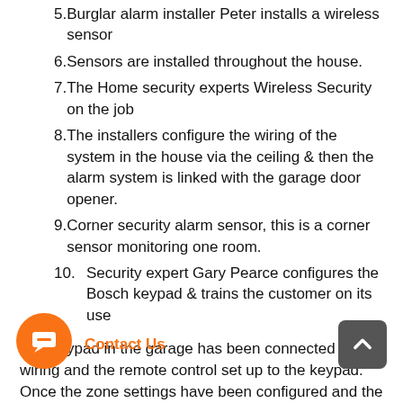5. Burglar alarm installer Peter installs a wireless sensor
6. Sensors are installed throughout the house.
7. The Home security experts Wireless Security on the job
8. The installers configure the wiring of the system in the house via the ceiling & then the alarm system is linked with the garage door opener.
9. Corner security alarm sensor, this is a corner sensor monitoring one room.
10. Security expert Gary Pearce configures the Bosch keypad & trains the customer on its use
The keypad in the garage has been connected to the wiring and the remote control set up to the keypad. Once the zone settings have been configured and the number for the system set the customer is taught to use the security alarm system keypad & remote. Our burglar alarm monitoring service has also been